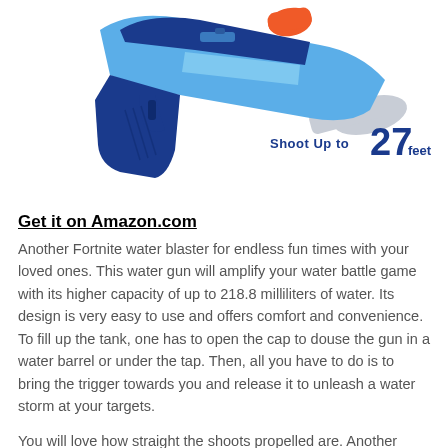[Figure (photo): Blue and orange Fortnite-style water gun/blaster toy shown at an angle. Text overlay reads 'Shoot Up to 27 feet' in bold dark blue and navy font.]
Get it on Amazon.com
Another Fortnite water blaster for endless fun times with your loved ones. This water gun will amplify your water battle game with its higher capacity of up to 218.8 milliliters of water. Its design is very easy to use and offers comfort and convenience. To fill up the tank, one has to open the cap to douse the gun in a water barrel or under the tap. Then, all you have to do is to bring the trigger towards you and release it to unleash a water storm at your targets.
You will love how straight the shoots propelled are. Another highlight of this water blaster is that it...